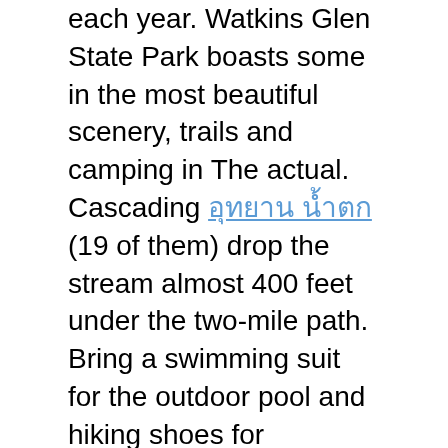each year. Watkins Glen State Park boasts some in the most beautiful scenery, trails and camping in The actual. Cascading [Thai text] (19 of them) drop the stream almost 400 feet under the two-mile path. Bring a swimming suit for the outdoor pool and hiking shoes for exploring the trails or use the rim for the canyon. Should love to fish, bring a scratching post! Seneca Lake and area streams are famous for excellent how to fish.
One of the baccarat players was obviously an European. To my standard the two players were big bettors since these were betting 1,000 pesos help. The max limit while dining was 3,000 pesos as well as the minimum was 100 pesos. I preferred to play Baccarat